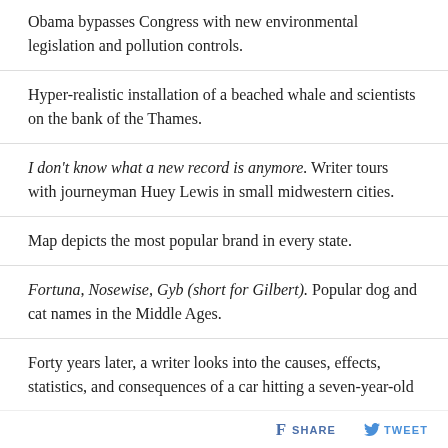Obama bypasses Congress with new environmental legislation and pollution controls.
Hyper-realistic installation of a beached whale and scientists on the bank of the Thames.
I don't know what a new record is anymore. Writer tours with journeyman Huey Lewis in small midwestern cities.
Map depicts the most popular brand in every state.
Fortuna, Nosewise, Gyb (short for Gilbert). Popular dog and cat names in the Middle Ages.
Forty years later, a writer looks into the causes, effects, statistics, and consequences of a car hitting a seven-year-old
SHARE   TWEET